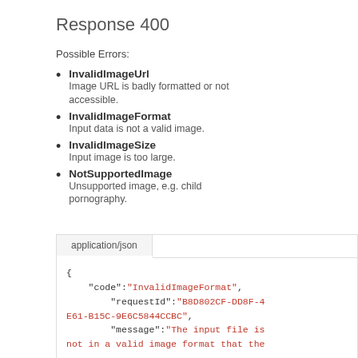Response 400
Possible Errors:
InvalidImageUrl – Image URL is badly formatted or not accessible.
InvalidImageFormat – Input data is not a valid image.
InvalidImageSize – Input image is too large.
NotSupportedImage – Unsupported image, e.g. child pornography.
application/json
{
    "code":"InvalidImageFormat",
        "requestId":"B8D802CF-DD8F-4E61-B15C-9E6C5844CCBC",
        "message":"The input file is not in a valid image format that the